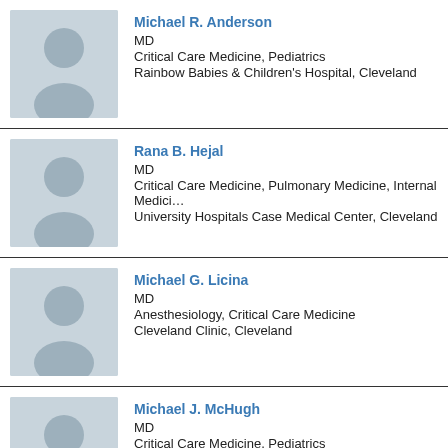[Figure (photo): Placeholder avatar silhouette for Michael R. Anderson]
Michael R. Anderson
MD
Critical Care Medicine, Pediatrics
Rainbow Babies & Children's Hospital, Cleveland
[Figure (photo): Placeholder avatar silhouette for Rana B. Hejal]
Rana B. Hejal
MD
Critical Care Medicine, Pulmonary Medicine, Internal Medicine
University Hospitals Case Medical Center, Cleveland
[Figure (photo): Placeholder avatar silhouette for Michael G. Licina]
Michael G. Licina
MD
Anesthesiology, Critical Care Medicine
Cleveland Clinic, Cleveland
[Figure (photo): Placeholder avatar silhouette for Michael J. McHugh]
Michael J. McHugh
MD
Critical Care Medicine, Pediatrics
Cleveland Clinic, Cleveland